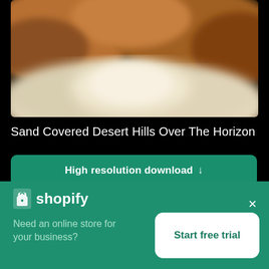[Figure (photo): Blurred sand-covered desert hills landscape photo viewed over the horizon, showing warm brown/orange tones and white sandy foreground]
Sand Covered Desert Hills Over The Horizon
High resolution download ↓
[Figure (screenshot): Shopify advertisement banner with logo, tagline 'Need an online store for your business?' and 'Start free trial' button]
Need an online store for your business?
Start free trial